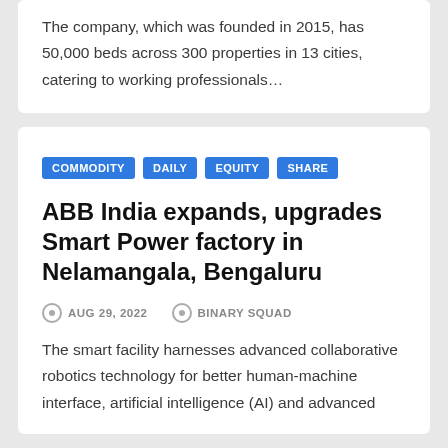The company, which was founded in 2015, has 50,000 beds across 300 properties in 13 cities, catering to working professionals…
COMMODITY
DAILY
EQUITY
SHARE
ABB India expands, upgrades Smart Power factory in Nelamangala, Bengaluru
AUG 29, 2022   BINARY SQUAD
The smart facility harnesses advanced collaborative robotics technology for better human-machine interface, artificial intelligence (AI) and advanced